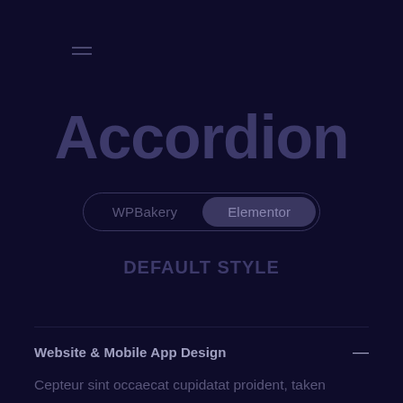≡
Accordion
WPBakery  Elementor
Default Style
Website & Mobile App Design
Cepteur sint occaecat cupidatat proident, taken possession of my entire soul, like these sweet